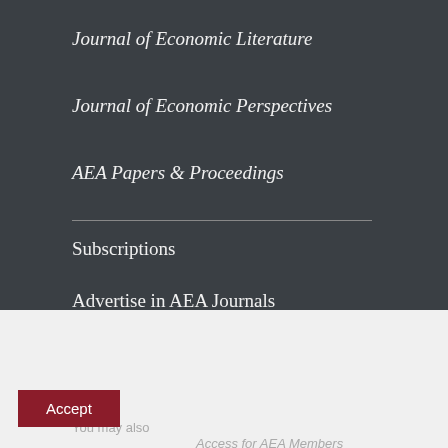Journal of Economic Literature
Journal of Economic Perspectives
AEA Papers & Proceedings
Subscriptions
Advertise in AEA Journals
This website uses cookies.
By clicking the "Accept" button or continuing to browse our site, you agree to first-party and session-only cookies being stored on your device to enhance site navigation and analyze site performance and traffic. For more information on our use of cookies, please see our Privacy Policy.
Accept